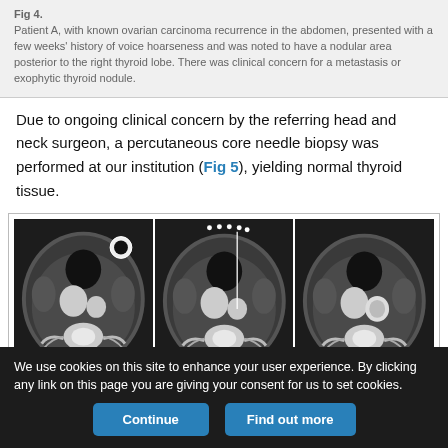Fig 4.
Patient A, with known ovarian carcinoma recurrence in the abdomen, presented with a few weeks' history of voice hoarseness and was noted to have a nodular area posterior to the right thyroid lobe. There was clinical concern for a metastasis or exophytic thyroid nodule.
Due to ongoing clinical concern by the referring head and neck surgeon, a percutaneous core needle biopsy was performed at our institution (Fig 5), yielding normal thyroid tissue.
[Figure (photo): Three axial CT scan images (panels A, B, C) of the neck/thyroid region showing cross-sectional anatomy with a nodular area posterior to the right thyroid lobe. Panel B shows needle biopsy dots at top.]
We use cookies on this site to enhance your user experience. By clicking any link on this page you are giving your consent for us to set cookies.